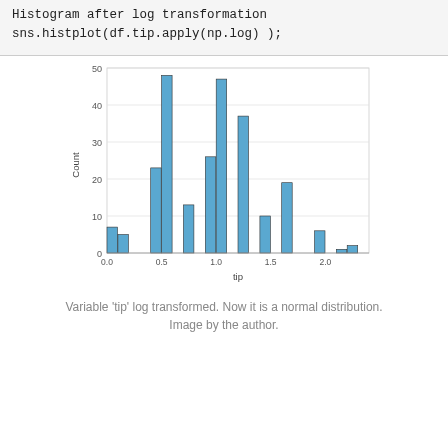Histogram after log transformation
sns.histplot(df.tip.apply(np.log) );
[Figure (histogram): ]
Variable 'tip' log transformed. Now it is a normal distribution.
Image by the author.